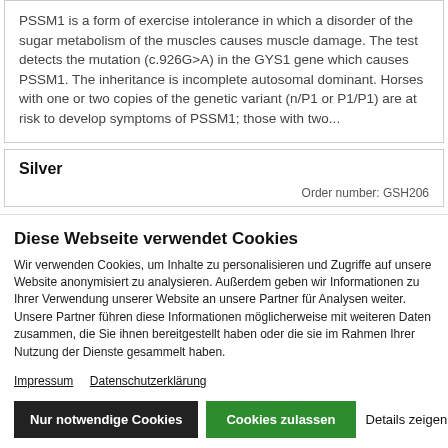PSSM1 is a form of exercise intolerance in which a disorder of the sugar metabolism of the muscles causes muscle damage. The test detects the mutation (c.926G>A) in the GYS1 gene which causes PSSM1. The inheritance is incomplete autosomal dominant. Horses with one or two copies of the genetic variant (n/P1 or P1/P1) are at risk to develop symptoms of PSSM1; those with two...
Silver
Order number: GSH206
Diese Webseite verwendet Cookies
Wir verwenden Cookies, um Inhalte zu personalisieren und Zugriffe auf unsere Website anonymisiert zu analysieren. Außerdem geben wir Informationen zu Ihrer Verwendung unserer Website an unsere Partner für Analysen weiter. Unsere Partner führen diese Informationen möglicherweise mit weiteren Daten zusammen, die Sie ihnen bereitgestellt haben oder die sie im Rahmen Ihrer Nutzung der Dienste gesammelt haben.
Impressum
Datenschutzerklärung